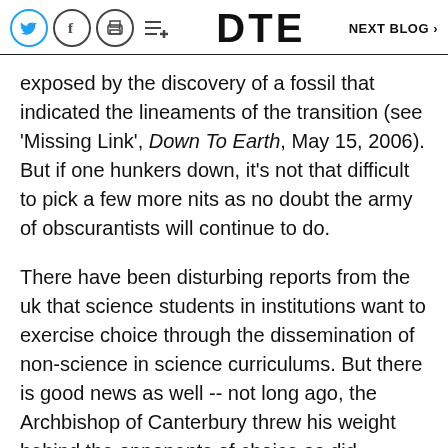DTE   NEXT BLOG >
exposed by the discovery of a fossil that indicated the lineaments of the transition (see 'Missing Link', Down To Earth, May 15, 2006). But if one hunkers down, it's not that difficult to pick a few more nits as no doubt the army of obscurantists will continue to do.
There have been disturbing reports from the uk that science students in institutions want to exercise choice through the dissemination of non-science in science curriculums. But there is good news as well -- not long ago, the Archbishop of Canterbury threw his weight behind the opponents of choice as did